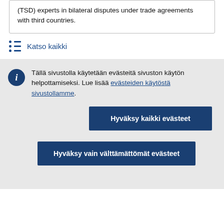(TSD) experts in bilateral disputes under trade agreements with third countries.
Katso kaikki
Tällä sivustolla käytetään evästeitä sivuston käytön helpottamiseksi. Lue lisää evästeiden käytöstä sivustollamme.
Hyväksy kaikki evästeet
Hyväksy vain välttämättömät evästeet